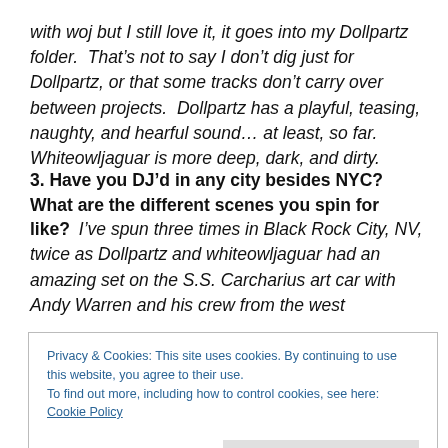with woj but I still love it, it goes into my Dollpartz folder.  That's not to say I don't dig just for Dollpartz, or that some tracks don't carry over between projects.  Dollpartz has a playful, teasing, naughty, and hearful sound… at least, so far.  Whiteowljaguar is more deep, dark, and dirty.
3. Have you DJ'd in any city besides NYC? What are the different scenes you spin for like?  I've spun three times in Black Rock City, NV, twice as Dollpartz and whiteowljaguar had an amazing set on the S.S. Carcharius art car with Andy Warren and his crew from the west
Privacy & Cookies: This site uses cookies. By continuing to use this website, you agree to their use.
To find out more, including how to control cookies, see here: Cookie Policy
spun a great, naughty party in Durham, NC; we recently